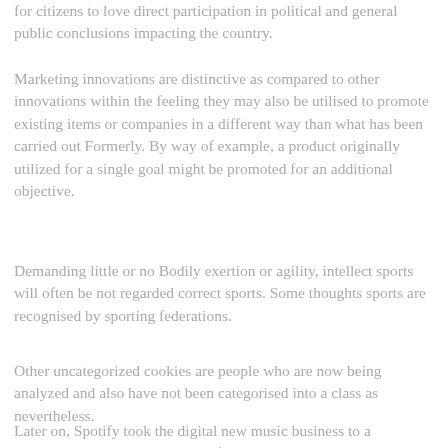for citizens to love direct participation in political and general public conclusions impacting the country.
Marketing innovations are distinctive as compared to other innovations within the feeling they may also be utilised to promote existing items or companies in a different way than what has been carried out Formerly. By way of example, a product originally utilized for a single goal might be promoted for an additional objective.
Demanding little or no Bodily exertion or agility, intellect sports will often be not regarded correct sports. Some thoughts sports are recognised by sporting federations.
Other uncategorized cookies are people who are now being analyzed and also have not been categorised into a class as nevertheless.
Later on, Spotify took the digital new music business to a completely distinct way with its freemium streaming